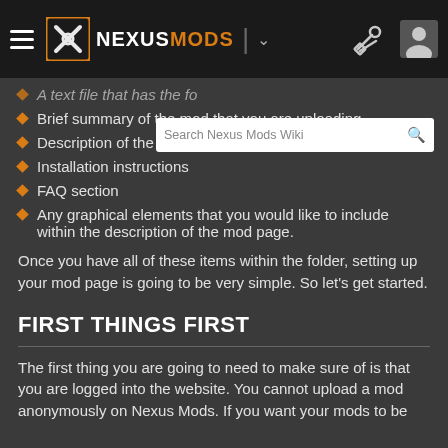Nexus Mods navigation bar with logo, search, tools, and user icon
A text file that has the fo[rmation of the description]
Brief summary of the mod that you are uploading
Description of the mod and how it works
Installation instructions
FAQ section
Any graphical elements that you would like to include within the description of the mod page.
Once you have all of these items within the folder, setting up your mod page is going to be very simple. So let's get started.
FIRST THINGS FIRST
The first thing you are going to need to make sure of is that you are logged into the website. You cannot upload a mod anonymously on Nexus Mods. If you want your mods to be